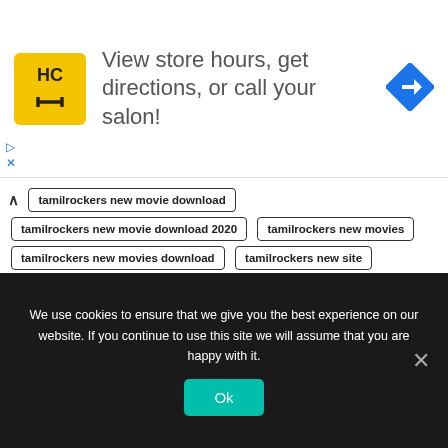[Figure (logo): HC logo in yellow box with navigation arrow icon - ad banner: View store hours, get directions, or call your salon!]
tamilrockers new movie download
tamilrockers new movie download 2020
tamilrockers new movies
tamilrockers new movies download
tamilrockers new site
tamilrockers new tamil movie download
tamilrockers new url
tamilrockers new website
tamilrockers new website 2020
tamilrockers new website link
tamilrockers news link
tamilrockers news list
tamilrockers news live
tamilrockers nz
tamilrockers official
tamilrockers official website
We use cookies to ensure that we give you the best experience on our website. If you continue to use this site we will assume that you are happy with it.